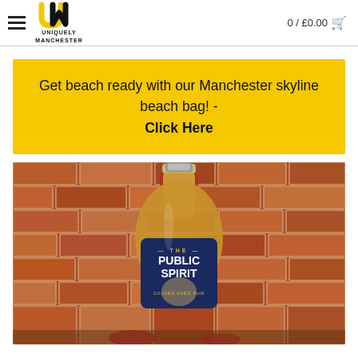Uniquely Manchester — 0 / £0.00
Get beach ready with our Manchester skyline beach bag! - Click Here
[Figure (photo): A bottle of 'The Public Spirit Golden Aged Rum' placed against a brick wall background.]